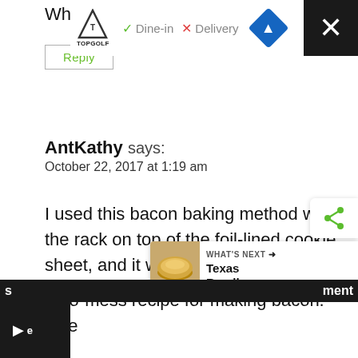When done...no mess on pan.
Reply
AntKathy says:
October 22, 2017 at 1:19 am
I used this bacon baking method with the rack on top of the foil-lined cookie sheet, and it was perfect! Thank... a no-mess recipe for making bacon. One s... e... ment